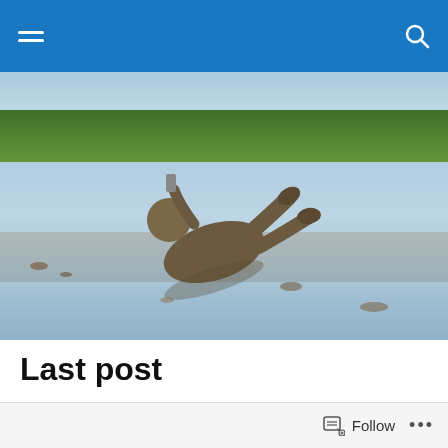Navigation bar with menu and search icons
[Figure (photo): A person lying back in a muddy marsh or wetland, covered in mud, with green reeds and a light sky in the background.]
Last post
There won't be any more posts on this blog. Time to move to other projects.
Thanks to all the people who have supported the blog during these 5 years.
Follow   ...